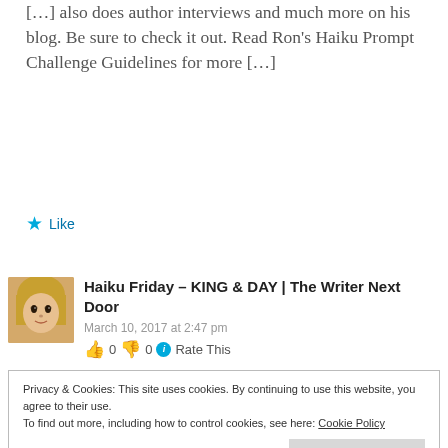[…] also does author interviews and much more on his blog. Be sure to check it out. Read Ron's Haiku Prompt Challenge Guidelines for more […]
★ Like
Haiku Friday – KING & DAY | The Writer Next Door
March 10, 2017 at 2:47 pm
👍 0 👎 0 ℹ Rate This
Privacy & Cookies: This site uses cookies. By continuing to use this website, you agree to their use.
To find out more, including how to control cookies, see here: Cookie Policy
Close and accept
★ Like